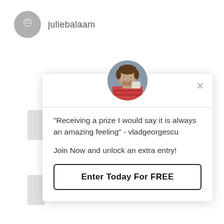[Figure (illustration): Gray circle avatar with neutral face emoji icon and username 'juliebalaam' to the right]
juliebalaam
[Figure (photo): Popup modal with circular photo of smiling man, a horizontal rule, testimonial quote, join text, and Enter Today For FREE button. Close X in top right.]
"Receiving a prize I would say it is always an amazing feeling" - vladgeorgescu
Join Now and unlock an extra entry!
Enter Today For FREE